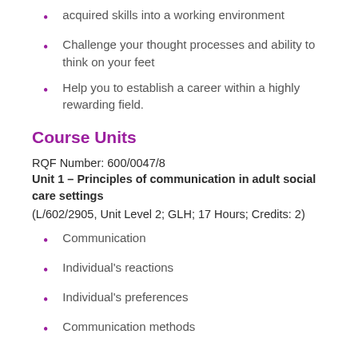acquired skills into a working environment
Challenge your thought processes and ability to think on your feet
Help you to establish a career within a highly rewarding field.
Course Units
RQF Number: 600/0047/8
Unit 1 – Principles of communication in adult social care settings
(L/602/2905, Unit Level 2; GLH; 17 Hours; Credits: 2)
Communication
Individual's reactions
Individual's preferences
Communication methods